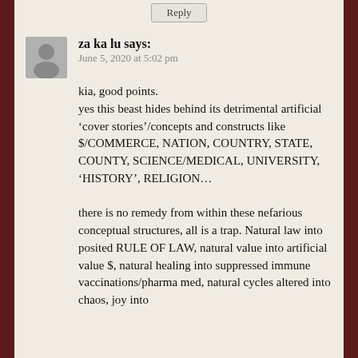Reply
za ka lu says:
June 5, 2020 at 5:02 pm
kia, good points.
yes this beast hides behind its detrimental artificial ‘cover stories’/concepts and constructs like $/COMMERCE, NATION, COUNTRY, STATE, COUNTY, SCIENCE/MEDICAL, UNIVERSITY, ‘HISTORY’, RELIGION…

there is no remedy from within these nefarious conceptual structures, all is a trap. Natural law into posited RULE OF LAW, natural value into artificial value $, natural healing into suppressed immune vaccinations/pharma med, natural cycles altered into chaos, joy into